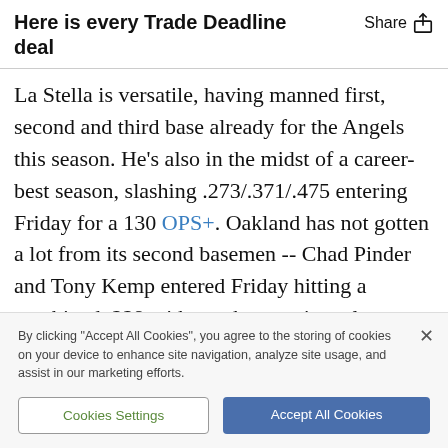Here is every Trade Deadline deal
La Stella is versatile, having manned first, second and third base already for the Angels this season. He's also in the midst of a career-best season, slashing .273/.371/.475 entering Friday for a 130 OPS+. Oakland has not gotten a lot from its second basemen -- Chad Pinder and Tony Kemp entered Friday hitting a combined .229 with two homers in a platoon -- so the first-place A's appear to have made their powerful
By clicking "Accept All Cookies", you agree to the storing of cookies on your device to enhance site navigation, analyze site usage, and assist in our marketing efforts.
Cookies Settings
Accept All Cookies